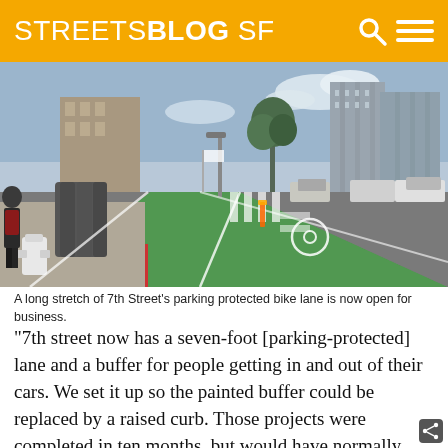STREETSBLOG SF
[Figure (photo): A street-level photo of 7th Street in San Francisco showing a green-painted parking protected bike lane with white bicycle markings, parked cars, buildings, and a pedestrian near a fire hydrant and mailboxes in the foreground.]
A long stretch of 7th Street's parking protected bike lane is now open for business.
“7th street now has a seven-foot [parking-protected] lane and a buffer for people getting in and out of their cars. We set it up so the painted buffer could be replaced by a raised curb. Those projects were completed in ten months, but would have normally